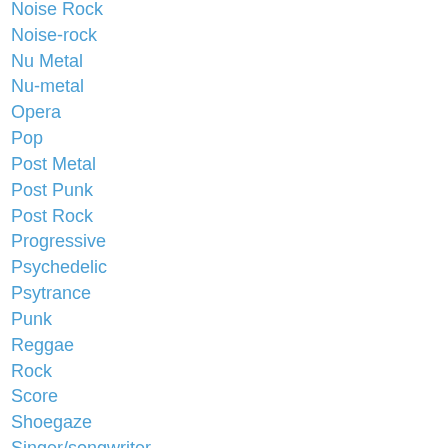Noise Rock
Noise-rock
Nu Metal
Nu-metal
Opera
Pop
Post Metal
Post Punk
Post Rock
Progressive
Psychedelic
Psytrance
Punk
Reggae
Rock
Score
Shoegaze
Singer/songwriter
Sludge
Soul